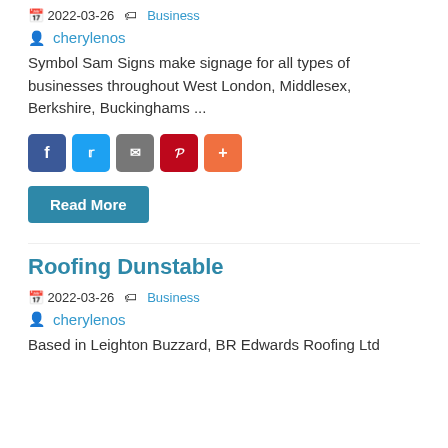2022-03-26  Business
cherylenos
Symbol Sam Signs make signage for all types of businesses throughout West London, Middlesex, Berkshire, Buckinghams ...
[Figure (infographic): Social share buttons: Facebook (blue), Twitter (light blue), Email (gray), Pinterest (red), Plus/More (orange)]
Read More
Roofing Dunstable
2022-03-26  Business
cherylenos
Based in Leighton Buzzard, BR Edwards Roofing Ltd